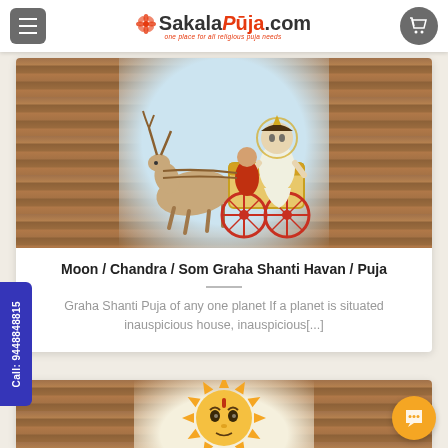SakalaPuja.com — one place for all religious puja needs
[Figure (illustration): Illustration of Chandra (Moon god) riding a chariot pulled by an antelope, with a deity figure sitting on the chariot, set against a wood-grain textured background with a light-blue center panel]
Moon / Chandra / Som Graha Shanti Havan / Puja
Graha Shanti Puja of any one planet If a planet is situated inauspicious house, inauspicious[...]
Call: 9448848815
[Figure (illustration): Partial illustration of a Sun deity face with golden sun rays radiating outward, set against a wood-grain textured background with a light center panel]